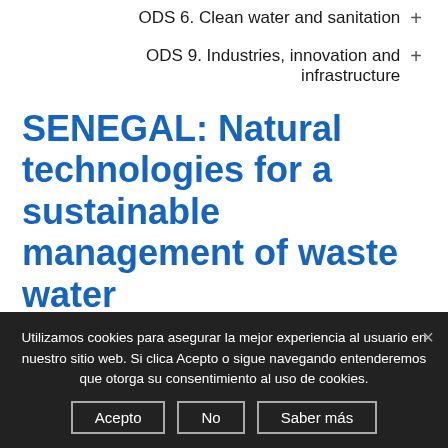ODS 6. Clean water and sanitation +
ODS 9. Industries, innovation and infrastructure +
SENEGAL: Natural technologies for a sustainable management of waste water
Period: 2017 – 2018
[Figure (photo): Partial view of a photo, obscured by cookie banner]
Utilizamos cookies para asegurar la mejor experiencia al usuario en nuestro sitio web. Si clica Acepto o sigue navegando entenderemos que otorga su consentimiento al uso de cookies. Acepto  No  Saber más